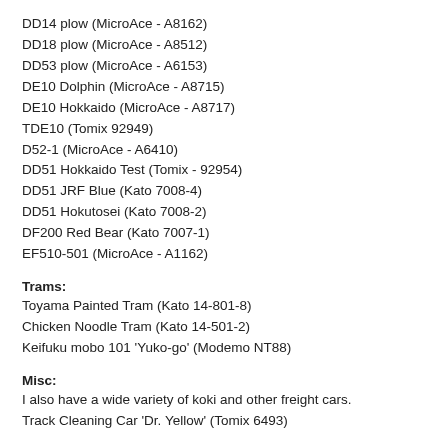DD14 plow (MicroAce - A8162)
DD18 plow (MicroAce - A8512)
DD53 plow (MicroAce - A6153)
DE10 Dolphin (MicroAce - A8715)
DE10 Hokkaido (MicroAce - A8717)
TDE10 (Tomix 92949)
D52-1 (MicroAce - A6410)
DD51 Hokkaido Test (Tomix - 92954)
DD51 JRF Blue (Kato 7008-4)
DD51 Hokutosei (Kato 7008-2)
DF200 Red Bear (Kato 7007-1)
EF510-501 (MicroAce - A1162)
Trams:
Toyama Painted Tram (Kato 14-801-8)
Chicken Noodle Tram (Kato 14-501-2)
Keifuku mobo 101 'Yuko-go' (Modemo NT88)
Misc:
I also have a wide variety of koki and other freight cars.
Track Cleaning Car 'Dr. Yellow' (Tomix 6493)